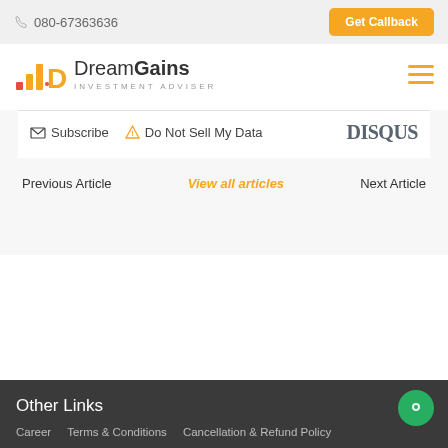080-67363636  Get Callback
[Figure (logo): DreamGains Investment Adviser logo with bar chart icon]
Subscribe  Do Not Sell My Data  DISQUS
Previous Article   View all articles   Next Article
Other Links
Career   Terms & Conditions   Cancellation & Refund Policy